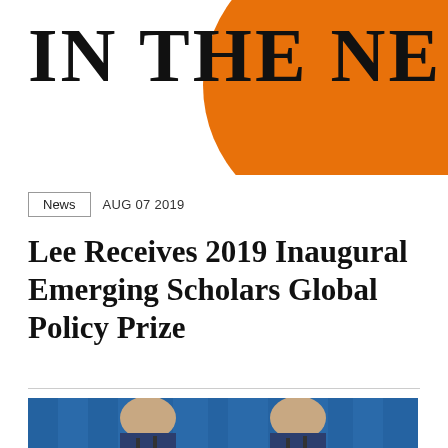[Figure (logo): Header banner with 'IN THE NE' text (partially cut off) in large serif bold font, with an orange circle/blob shape on the right side partially cropped]
News   AUG 07 2019
Lee Receives 2019 Inaugural Emerging Scholars Global Policy Prize
[Figure (photo): Two men in suits standing at a podium with microphones, smiling and gesturing, with a blue curtain behind them]